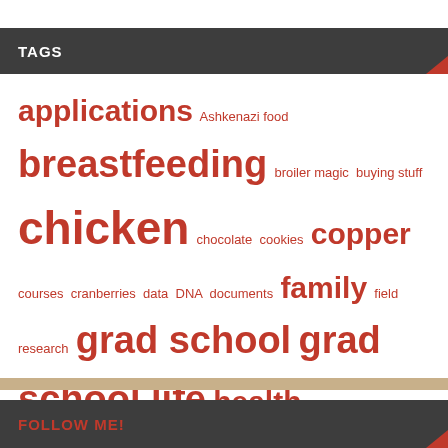TAGS
applications Ashkenazi food breastfeeding broiler magic buying stuff chicken chocolate cookies copper courses cranberries data DNA documents family field research grad school grad school life health imposter syndrome interdisciplinary kids kitchen techniques material culture Mediterranean morning sickness networking NYC onion orals pedagogy pregnancy public schools race racism research shallow fry soup sources Southwest syllabus travel words to live by writing xrf
FOLLOW ME!